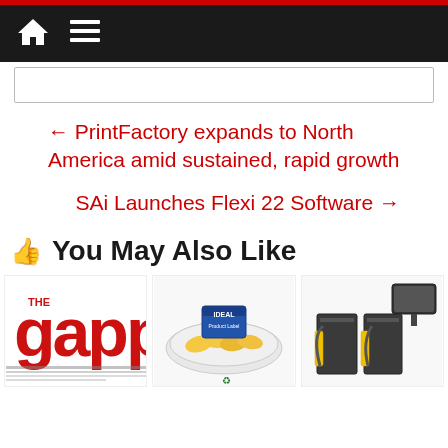Navigation bar with home and menu icons
← PrintFactory expands to North America amid sustained, rapid growth
SAi Launches Flexi 22 Software →
You May Also Like
[Figure (photo): The Gapp magazine logo in red letters on white background with newspaper at bottom]
[Figure (photo): Food packaging product image showing chips/snacks in a tray with a label]
[Figure (photo): Industrial equipment - two dark cabinet units with yellow accents and a control tablet/screen]